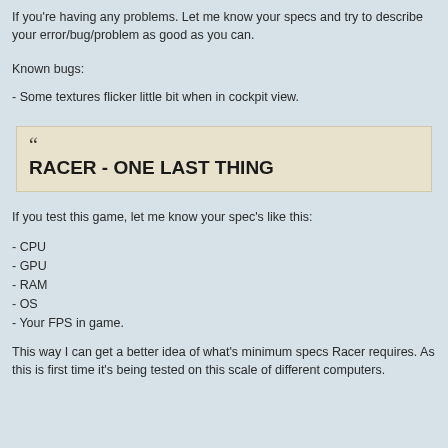If you're having any problems. Let me know your specs and try to describe your error/bug/problem as good as you can.
Known bugs:
- Some textures flicker little bit when in cockpit view.
[Figure (other): Quote box with large opening quotation mark and bold title text: RACER - ONE LAST THING]
If you test this game, let me know your spec's like this:
- CPU
- GPU
- RAM
- OS
- Your FPS in game.
This way I can get a better idea of what's minimum specs Racer requires. As this is first time it's being tested on this scale of different computers.